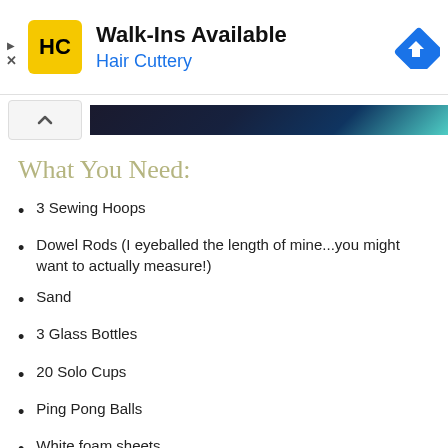[Figure (infographic): Hair Cuttery advertisement banner with yellow HC logo, 'Walk-Ins Available' title, 'Hair Cuttery' subtitle in blue, and a blue navigation/map arrow icon on the right]
[Figure (photo): Partial dark image strip with blue/teal tones, with a chevron-up button on the left]
What You Need:
3 Sewing Hoops
Dowel Rods (I eyeballed the length of mine...you might want to actually measure!)
Sand
3 Glass Bottles
20 Solo Cups
Ping Pong Balls
White foam sheets
Hot Glue